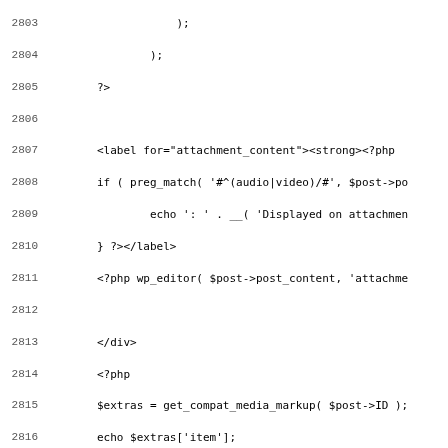Code listing showing PHP source lines 2804-2835